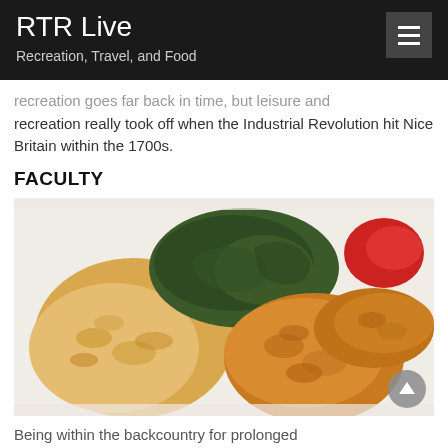RTR Live
Recreation, Travel, and Food
recreation goes far back in time, but leisure and recreation really took off when the Industrial Revolution hit Nice Britain within the 1700s.
FACULTY
[Figure (photo): Close-up photo of a Southern food plate featuring fried chicken tenders, macaroni and cheese, and collard greens on a white plate.]
Being within the backcountry for prolonged